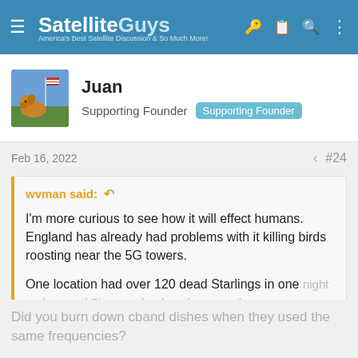SatelliteGuys — America's Best Satellite Discussion & So Much More!
Juan
Supporting Founder  Supporting Founder
Feb 16, 2022  #24
wvman said: ↩
I'm more curious to see how it will effect humans. England has already had problems with it killing birds roosting near the 5G towers.
One location had over 120 dead Starlings in one night and several Pigeons dead on the ground
Click to expand...
Did you burn down cband dishes when they used the same frequencies?